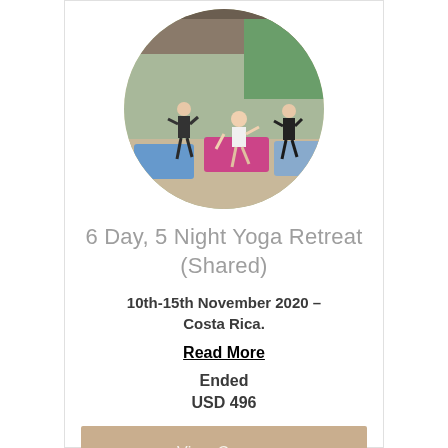[Figure (photo): Circular photo of a yoga class in session. Multiple people on yoga mats in various standing poses inside an open-air studio with green surroundings.]
6 Day, 5 Night Yoga Retreat (Shared)
10th-15th November 2020 – Costa Rica.
Read More
Ended
USD 496
View Course